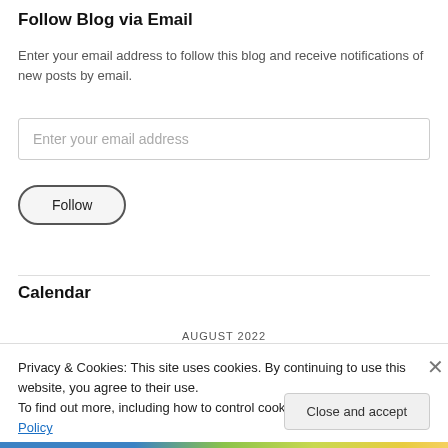Follow Blog via Email
Enter your email address to follow this blog and receive notifications of new posts by email.
Enter your email address
Follow
Calendar
AUGUST 2022
Privacy & Cookies: This site uses cookies. By continuing to use this website, you agree to their use.
To find out more, including how to control cookies, see here: Cookie Policy
Close and accept